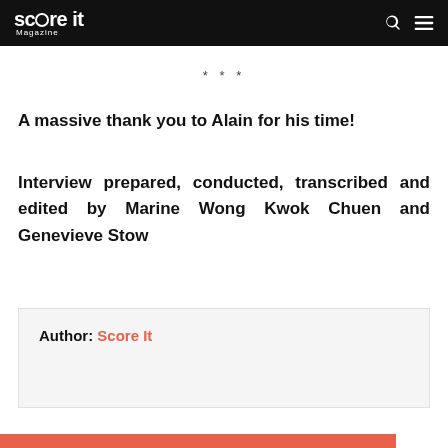Score It Magazine
***
A massive thank you to Alain for his time!
Interview prepared, conducted, transcribed and edited by Marine Wong Kwok Chuen and Genevieve Stow
Author: Score It